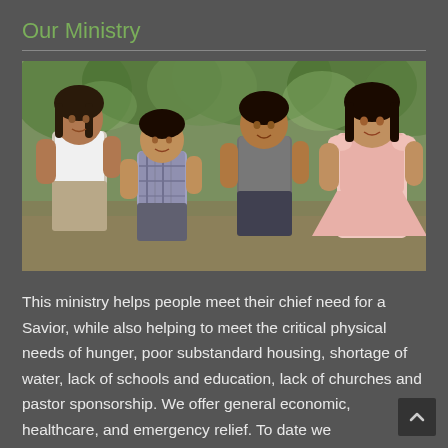Our Ministry
[Figure (photo): Four children standing together outdoors in a wooded area. From left to right: a girl in a white top, a younger boy in a plaid shirt, an older boy in a gray shirt, and a girl in a pink dress.]
This ministry helps people meet their chief need for a Savior, while also helping to meet the critical physical needs of hunger, poor substandard housing, shortage of water, lack of schools and education, lack of churches and pastor sponsorship. We offer general economic, healthcare, and emergency relief. To date we